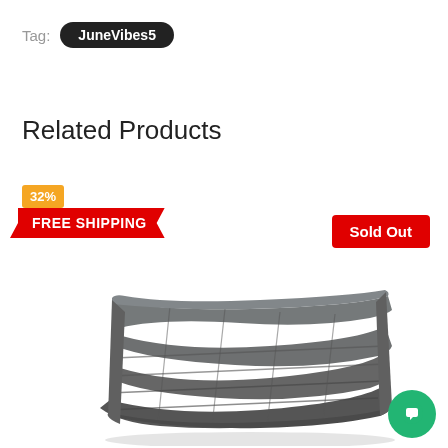Tag: JuneVibes5
Related Products
32%
FREE SHIPPING
Sold Out
[Figure (photo): A folded dark gray weighted blanket with quilted sections, viewed from the side/top angle. A green circular chat support button is visible in the bottom right corner.]